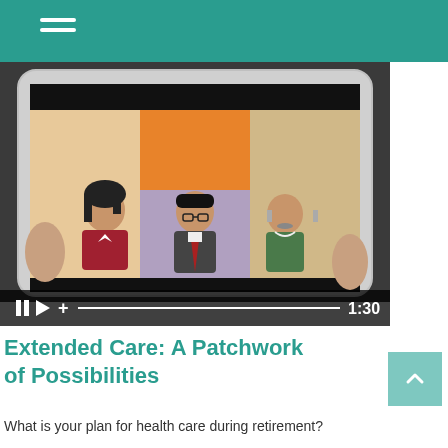[Figure (screenshot): A screenshot of a video player showing a tablet device held by hands. The tablet screen displays an animated illustration of three cartoon figures seated at a panel or desk: a woman with dark hair in a red top, a man in a suit with glasses, and an older man in a green sweater. The background panels on the tablet screen are in orange, light orange/peach, and lavender/grey colors. The video player controls show a pause icon, play icon, plus icon, progress bar, and a timestamp of 1:30.]
Extended Care: A Patchwork of Possibilities
What is your plan for health care during retirement?